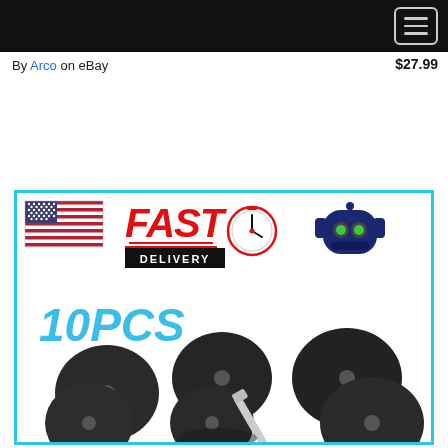By Arco on eBay   $27.99
[Figure (photo): Product listing image showing '10PCS' cutting discs with a US flag, FAST DELIVERY text with stopwatch icon, a robot icon, and multiple black abrasive cutting discs with a mandrel on a white background with cyan border.]